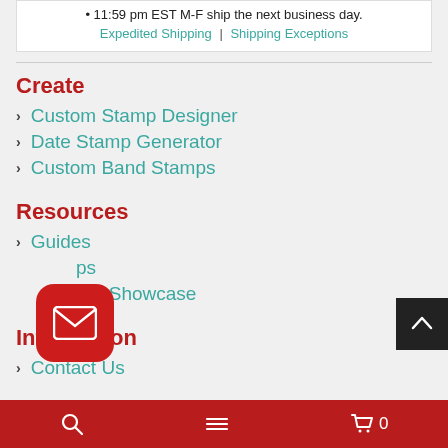• 11:59 pm EST M-F ship the next business day.
Expedited Shipping | Shipping Exceptions
Create
Custom Stamp Designer
Date Stamp Generator
Custom Band Stamps
Resources
Guides
Tips
Customer Showcase
Information
Contact Us